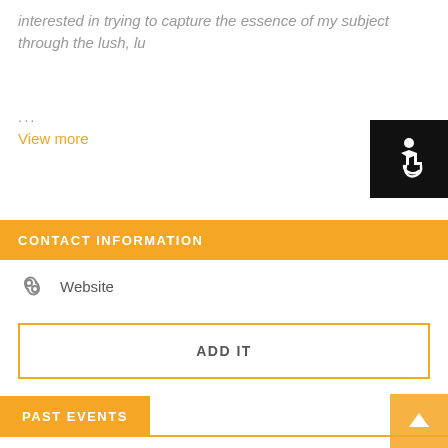interested in trying to capture the essence of my subject through the lush, lu
...
View more
[Figure (illustration): Accessibility wheelchair icon in white on black background]
CONTACT INFORMATION
Website
ADD IT
PAST EVENTS